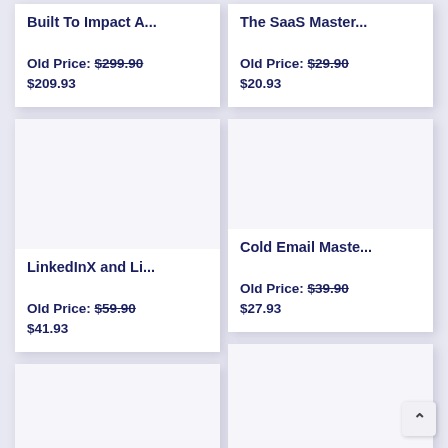Built To Impact A...
Old Price: $299.90
$209.93
The SaaS Master...
Old Price: $29.90
$20.93
LinkedInX and Li...
Old Price: $59.90
$41.93
Cold Email Maste...
Old Price: $39.90
$27.93